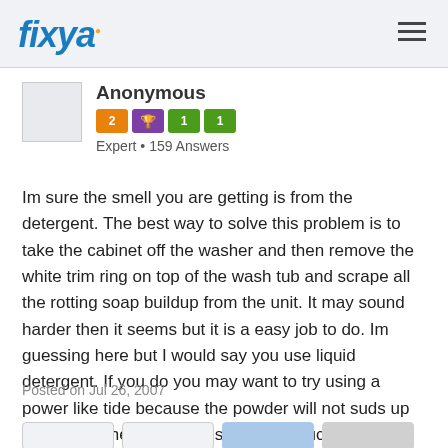fixya
Anonymous
Expert • 159 Answers
Im sure the smell you are getting is from the detergent. The best way to solve this problem is to take the cabinet off the washer and then remove the white trim ring on top of the wash tub and scrape all the rotting soap buildup from the unit. It may sound harder then it seems but it is a easy job to do. Im guessing here but I would say you use liquid detergent. If you do you may want to try using a power like tide because the powder will not suds up as much a the liquid soaps do. Good luck
Posted on Jul 26, 2007